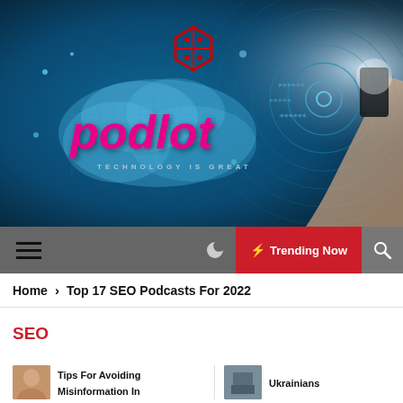[Figure (logo): Podlot technology website header banner with logo. Blue tech circuit board background with glowing rings, a cloud shape, red hexagon puzzle icon, pink/magenta italic 'podlot' text logo, tagline 'TECHNOLOGY IS GREAT', and a hand holding a smartphone on the right side.]
☰  ☾  ⚡ Trending Now  🔍
Home > Top 17 SEO Podcasts For 2022
SEO
Tips For Avoiding Misinformation In
Ukrainians